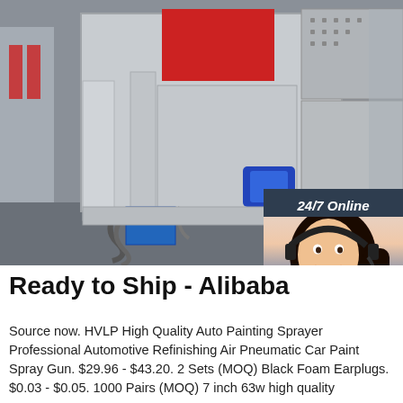[Figure (photo): Industrial machine (injection molding or similar) in a factory setting, with red cabinet panels and blue motor. A 24/7 Online chat overlay with a woman wearing a headset is shown in the bottom-right corner of the image.]
Ready to Ship - Alibaba
Source now. HVLP High Quality Auto Painting Sprayer Professional Automotive Refinishing Air Pneumatic Car Paint Spray Gun. $29.96 - $43.20. 2 Sets (MOQ) Black Foam Earplugs. $0.03 - $0.05. 1000 Pairs (MOQ) 7 inch 63w high quality